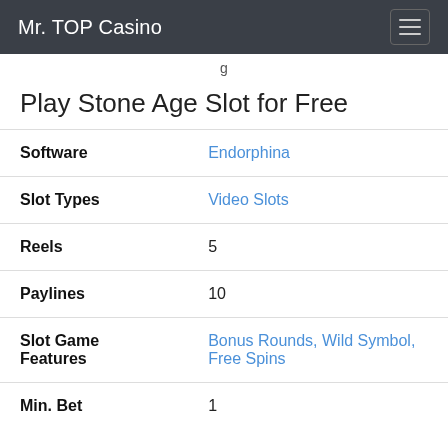Mr. TOP Casino
g
Play Stone Age Slot for Free
| Property | Value |
| --- | --- |
| Software | Endorphina |
| Slot Types | Video Slots |
| Reels | 5 |
| Paylines | 10 |
| Slot Game Features | Bonus Rounds, Wild Symbol, Free Spins |
| Min. Bet | 1 |